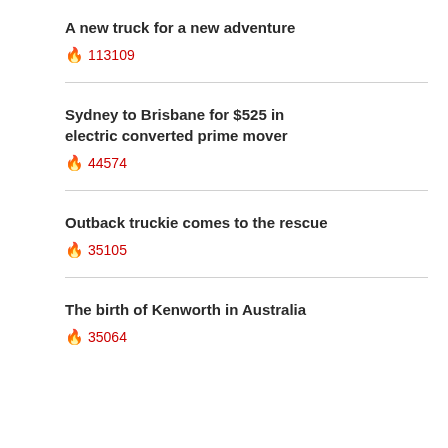A new truck for a new adventure
🔥 113109
Sydney to Brisbane for $525 in electric converted prime mover
🔥 44574
Outback truckie comes to the rescue
🔥 35105
The birth of Kenworth in Australia
🔥 35064